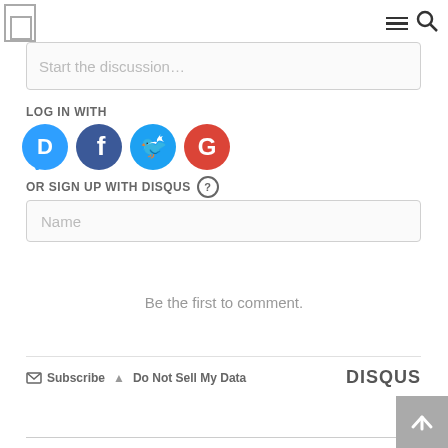[Figure (screenshot): Navigation bar with logo box and hamburger menu plus search icon]
Start the discussion...
LOG IN WITH
[Figure (illustration): Social login icons: Disqus (blue), Facebook (dark blue), Twitter (light blue), Google (red)]
OR SIGN UP WITH DISQUS ?
Name
Be the first to comment.
Subscribe  Do Not Sell My Data  DISQUS